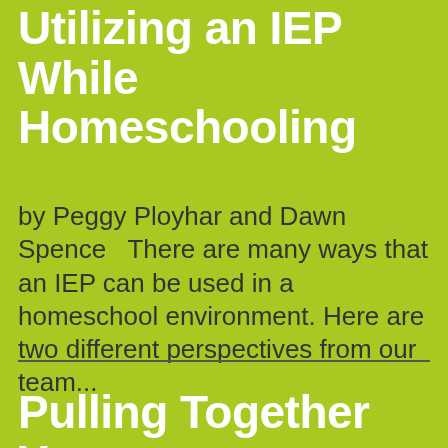Utilizing an IEP While Homeschooling
by Peggy Ployhar and Dawn Spence   There are many ways that an IEP can be used in a homeschool environment. Here are two different perspectives from our team...
Pulling Together Your